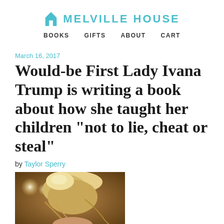MELVILLE HOUSE | BOOKS  GIFTS  ABOUT  CART
March 16, 2017
Would-be First Lady Ivana Trump is writing a book about how she taught her children “not to lie, cheat or steal”
by Taylor Sperry
[Figure (photo): Close-up photo of a blonde woman with an updo hairstyle, shot from behind/side angle, warm bokeh lights in background]